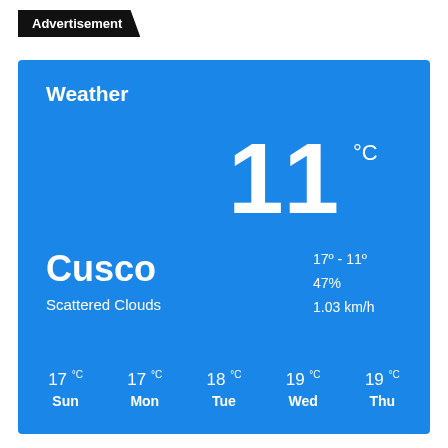Advertisement
[Figure (infographic): Weather widget for Cusco showing current temperature 11°C, Scattered Clouds, high 17° low 11°, humidity 47%, wind 1.03 km/h, and 5-day forecast: Sun 17°C, Mon 17°C, Tue 18°C, Wed 19°C, Thu 19°C]